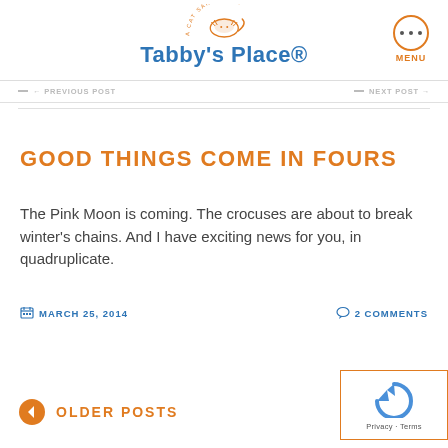Tabby's Place — A Cat Sanctuary
GOOD THINGS COME IN FOURS
The Pink Moon is coming. The crocuses are about to break winter's chains. And I have exciting news for you, in quadruplicate.
MARCH 25, 2014   2 COMMENTS
OLDER POSTS